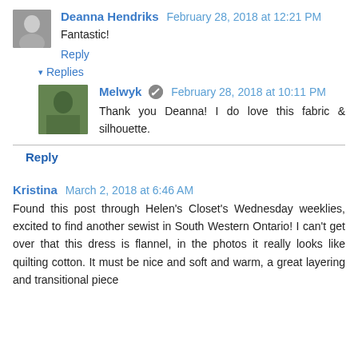Deanna Hendriks  February 28, 2018 at 12:21 PM
Fantastic!
Reply
▾ Replies
Melwyk  February 28, 2018 at 10:11 PM
Thank you Deanna! I do love this fabric & silhouette.
Reply
Kristina  March 2, 2018 at 6:46 AM
Found this post through Helen's Closet's Wednesday weeklies, excited to find another sewist in South Western Ontario! I can't get over that this dress is flannel, in the photos it really looks like quilting cotton. It must be nice and soft and warm, a great layering and transitional piece